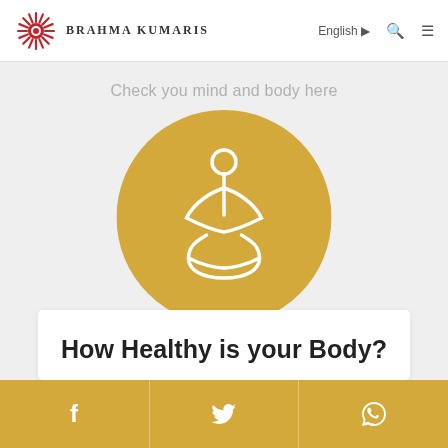[Figure (logo): Brahma Kumaris logo with red sunburst and organization name in serif uppercase letters]
English ▸
Check you mind and body here
[Figure (illustration): Golden/yellow circle with white line-art of a person sitting in meditation/lotus pose]
How Healthy is your Body?
[Figure (infographic): Footer bar with Facebook, Twitter, and WhatsApp social media icons on golden background]